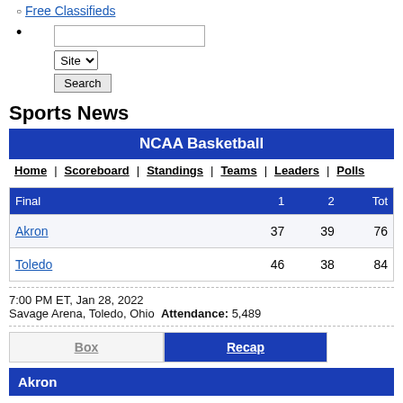Free Classifieds
Sports News
| Final | 1 | 2 | Tot |
| --- | --- | --- | --- |
| Akron | 37 | 39 | 76 |
| Toledo | 46 | 38 | 84 |
7:00 PM ET, Jan 28, 2022
Savage Arena, Toledo, Ohio  Attendance: 5,489
Box  |  Recap
Akron